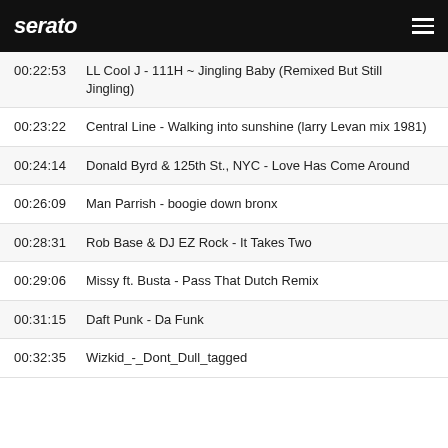serato
00:22:53  LL Cool J - 111H ~ Jingling Baby (Remixed But Still Jingling)
00:23:22  Central Line - Walking into sunshine (larry Levan mix 1981)
00:24:14  Donald Byrd & 125th St., NYC - Love Has Come Around
00:26:09  Man Parrish - boogie down bronx
00:28:31  Rob Base & DJ EZ Rock - It Takes Two
00:29:06  Missy ft. Busta - Pass That Dutch Remix
00:31:15  Daft Punk - Da Funk
00:32:35  Wizkid_-_Dont_Dull_tagged